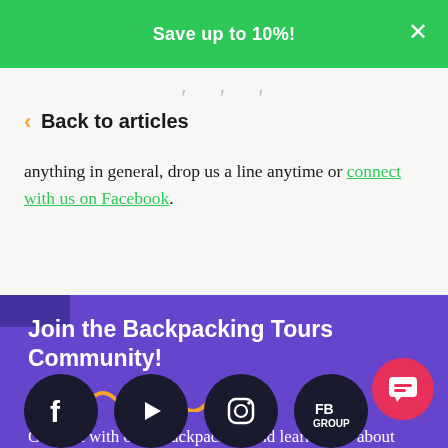Save up to 10%!
· · ·
< Back to articles
anything in general, drop us a line anytime or connect with us on Facebook.
Join the Backpacking Tours Community!
Connect with other backpackers and learn more about our tours.
[Figure (illustration): Social media icons: Facebook, YouTube, Instagram, FB Group]